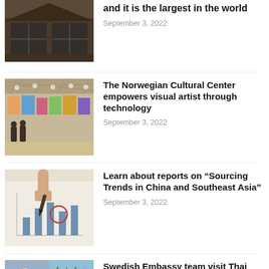[Figure (photo): Modern building with large windows and dark wood exterior]
and it is the largest in the world
September 3, 2022
[Figure (photo): Art gallery interior with colorful paintings on white walls]
The Norwegian Cultural Center empowers visual artist through technology
September 3, 2022
[Figure (photo): Hand pointing at business charts and graphs on paper]
Learn about reports on “Sourcing Trends in China and Southeast Asia”
September 3, 2022
[Figure (photo): Collage of Swedish Embassy team visiting Thai solar power project site]
Swedish Embassy team visit Thai solar power project site
September 2, 2022
[Figure (photo): Person photo, partially visible]
Danish Embassy in the